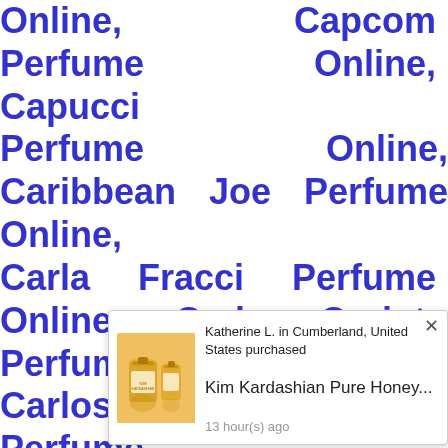Online, Capcom Perfume Online, Capucci Perfume Online, Caribbean Joe Perfume Online, Carla Fracci Perfume Online, Carlo Corinto Perfume Online, Carlos Campos Perfume Online, Carlos Santana Perfume Online, Carmen Electra Perfume Online, Carner Barcelona Perfume Online, Carolina Herrera Perfume Online, Caron Perfume Online, Cartier Perfume Online, Carven Perfume Online, Casino Perfumes Perfume Online, Catherine Malandrino Perfu... ...line, Celin... ...fume Onli... Charles Jourdan Perfume Ve...line, pre Ca... Charlie Perf... Online, Chanel Perfume Online, Ch...
[Figure (screenshot): A popup notification showing a product purchase. Contains: an image of Kim Kardashian Pure Honey perfume bottles, user text 'Katherine L. in Cumberland, United States purchased', product name 'Kim Kardashian Pure Honey...', time stamp '13 hour(s) ago', and a close (X) button.]